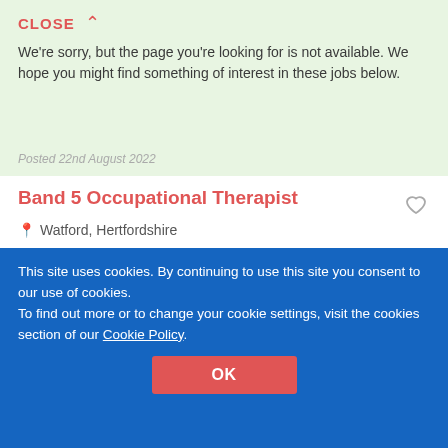CLOSE ∧
We're sorry, but the page you're looking for is not available. We hope you might find something of interest in these jobs below.
Posted 22nd August 2022
Band 5 Occupational Therapist
Watford, Hertfordshire
TTM Healthcare Solutions
£ 25655 - 31534 per year
Posted 22nd August 2022
Agency RNID Dublin
This site uses cookies. By continuing to use this site you consent to our use of cookies.
To find out more or to change your cookie settings, visit the cookies section of our Cookie Policy.
OK